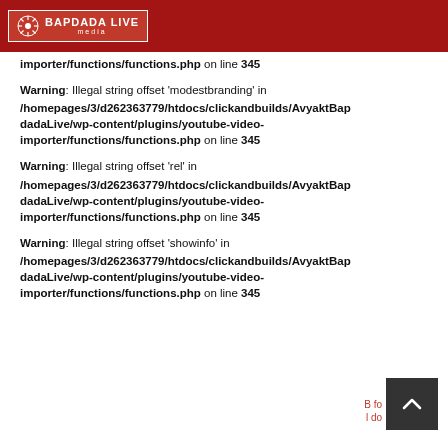BAPDADA LIVE media
importer/functions/functions.php on line 345
Warning: Illegal string offset 'modestbranding' in /homepages/3/d262363779/htdocs/clickandbuilds/AvyaktBapdadaLive/wp-content/plugins/youtube-video-importer/functions/functions.php on line 345
Warning: Illegal string offset 'rel' in /homepages/3/d262363779/htdocs/clickandbuilds/AvyaktBapdadaLive/wp-content/plugins/youtube-video-importer/functions/functions.php on line 345
Warning: Illegal string offset 'showinfo' in /homepages/3/d262363779/htdocs/clickandbuilds/AvyaktBapdadaLive/wp-content/plugins/youtube-video-importer/functions/functions.php on line 345